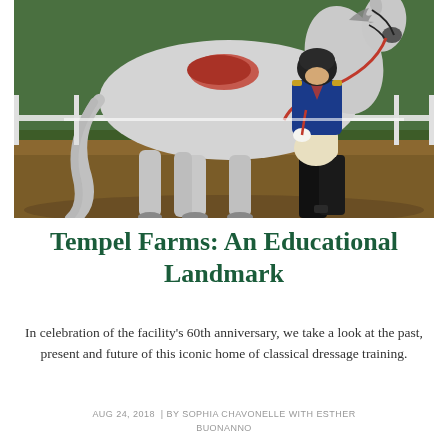[Figure (photo): A white horse standing in an equestrian arena with a rider/trainer dressed in formal equestrian attire (blue jacket, white breeches, black boots) holding the horse's reins. The background shows green grass and a white fence.]
Tempel Farms: An Educational Landmark
In celebration of the facility's 60th anniversary, we take a look at the past, present and future of this iconic home of classical dressage training.
AUG 24, 2018  | BY SOPHIA CHAVONELLE WITH ESTHER BUONANNO